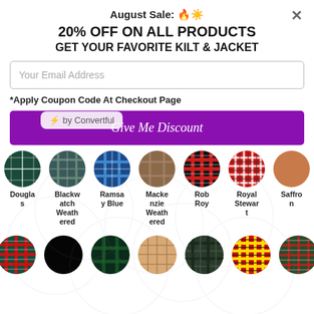August Sale: 🔥☀️
20% OFF ON ALL PRODUCTS
GET YOUR FAVORITE KILT & JACKET
Your Email Address
*Apply Coupon Code At Checkout Page
Give Me Discount
[Figure (illustration): Seven circular tartan/fabric swatch images in a row: Douglas, Blackwatch Weathered, Ramsay Blue, Mackenzie Weathered, Rob Roy, Royal Stewart, Saffron]
[Figure (infographic): ⚡ by Convertful watermark overlay]
[Figure (illustration): Seven circular fabric/tartan swatches in bottom row]